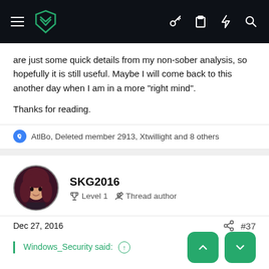Navigation bar with logo and icons
are just some quick details from my non-sober analysis, so hopefully it is still useful. Maybe I will come back to this another day when I am in a more "right mind".
Thanks for reading.
AtlBo, Deleted member 2913, Xtwillight and 8 others
SKG2016
Level 1  Thread author
Dec 27, 2016  #37
Windows_Security said: